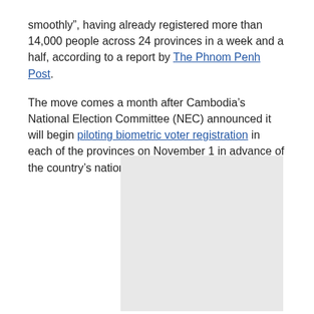smoothly", having already registered more than 14,000 people across 24 provinces in a week and a half, according to a report by The Phnom Penh Post.
The move comes a month after Cambodia's National Election Committee (NEC) announced it will begin piloting biometric voter registration in each of the provinces on November 1 in advance of the country's national registration next year.
[Figure (photo): A large light gray rectangular placeholder image block.]